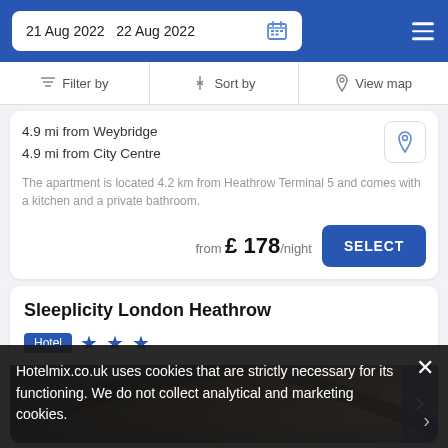21 Aug 2022  22 Aug 2022
Filter by  Sort by  View map
4.9 mi from Weybridge
4.9 mi from City Centre
The apartment is located 4.2 km from Heathrow Terminal 5 and comes with a kitchen and a private bathroom.
from £ 178/night
Sleeplicity London Heathrow
Hotel ★★★
Hotelmix.co.uk uses cookies that are strictly necessary for its functioning. We do not collect analytical and marketing cookies.